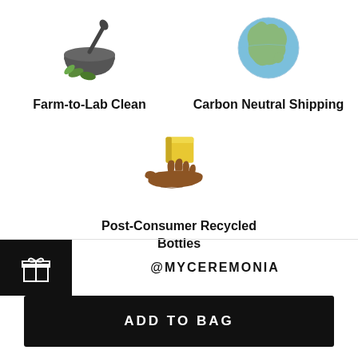[Figure (illustration): Mortar and pestle icon with green leaves]
Farm-to-Lab Clean
[Figure (illustration): Globe/Earth icon showing Americas]
Carbon Neutral Shipping
[Figure (illustration): Hand holding a gold/yellow box or bar]
Post-Consumer Recycled Bottles
[Figure (illustration): Gift box icon (white on black background)]
@MYCEREMONIA
ADD TO BAG